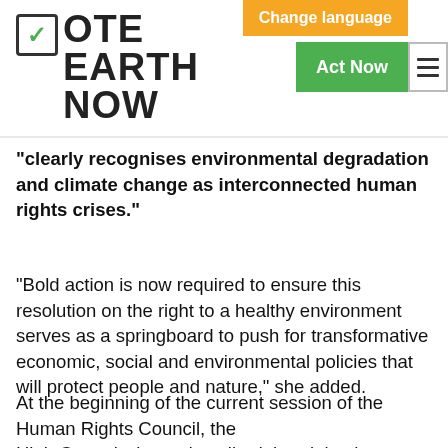Vote Earth Now — Change language | Act Now
“clearly recognises environmental degradation and climate change as interconnected human rights crises.”
“Bold action is now required to ensure this resolution on the right to a healthy environment serves as a springboard to push for transformative economic, social and environmental policies that will protect people and nature,” she added.
At the beginning of the current session of the Human Rights Council, the High Commissioner described the triple planetary threats of climate change, pollution and nature